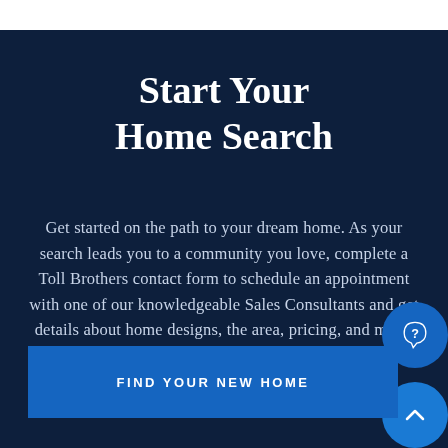Start Your Home Search
Get started on the path to your dream home. As your search leads you to a community you love, complete a Toll Brothers contact form to schedule an appointment with one of our knowledgeable Sales Consultants and get details about home designs, the area, pricing, and more.
[Figure (other): Blue circular chat bubble icon with question mark]
[Figure (other): Blue circular scroll-to-top button with upward chevron]
FIND YOUR NEW HOME